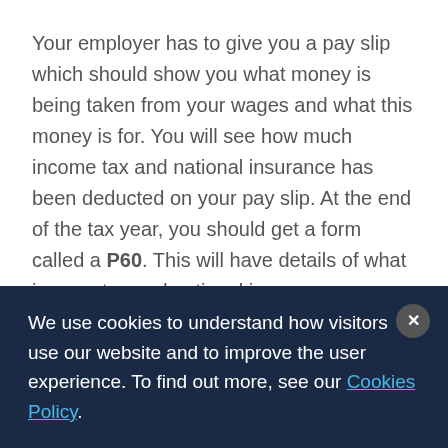Your employer has to give you a pay slip which should show you what money is being taken from your wages and what this money is for. You will see how much income tax and national insurance has been deducted on your pay slip. At the end of the tax year, you should get a form called a P60. This will have details of what income tax and national insurance you have paid over the year. These documents are very important as you may need them to prove that you have paid your income tax
We use cookies to understand how visitors use our website and to improve the user experience. To find out more, see our Cookies Policy.